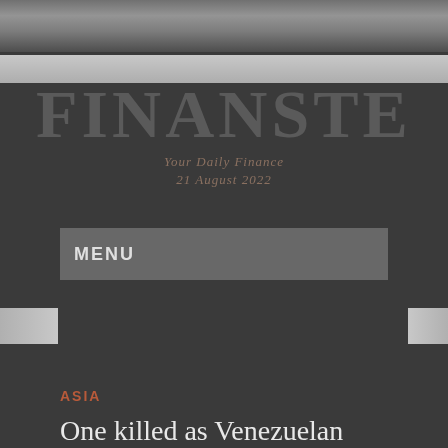[Figure (photo): Top decorative image bar with silver/grey gradient texture]
FINANSTE
Your Daily Finance
21 August 2022
MENU
Homepage / Asia / One killed as Venezuelan troops fire on protesters at airbase
ASIA
One killed as Venezuelan